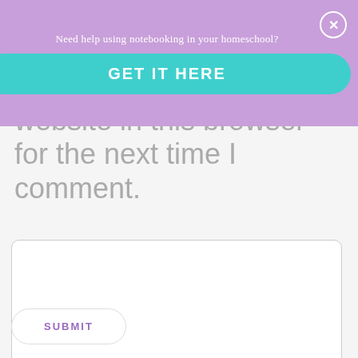[Figure (screenshot): Purple overlay banner with text 'Need help using notebooking in your homeschool?' and a teal 'GET IT HERE' button, with an X close button in the top right corner]
website in this browser for the next time I comment.
[Figure (other): Empty comment textarea input box with rounded corners]
[Figure (other): SUBMIT button with rounded corners and purple text]